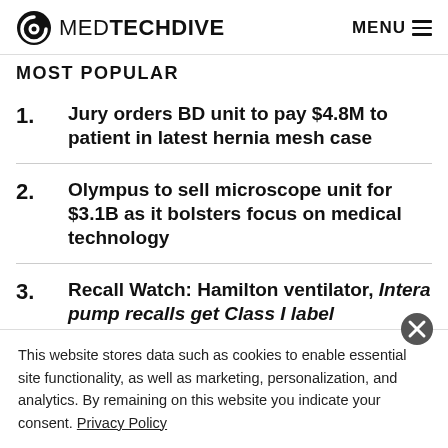MEDTECHDIVE  MENU
MOST POPULAR
1. Jury orders BD unit to pay $4.8M to patient in latest hernia mesh case
2. Olympus to sell microscope unit for $3.1B as it bolsters focus on medical technology
3. Recall Watch: Hamilton ventilator, Intera pump recalls get Class I label
This website stores data such as cookies to enable essential site functionality, as well as marketing, personalization, and analytics. By remaining on this website you indicate your consent. Privacy Policy